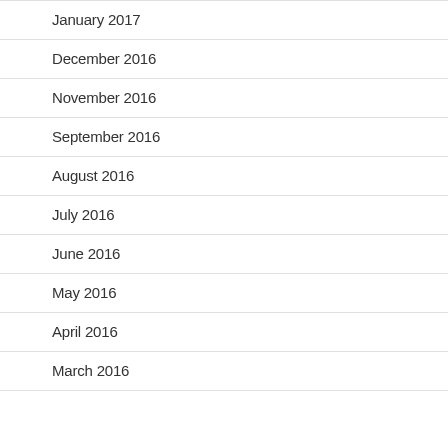January 2017
December 2016
November 2016
September 2016
August 2016
July 2016
June 2016
May 2016
April 2016
March 2016